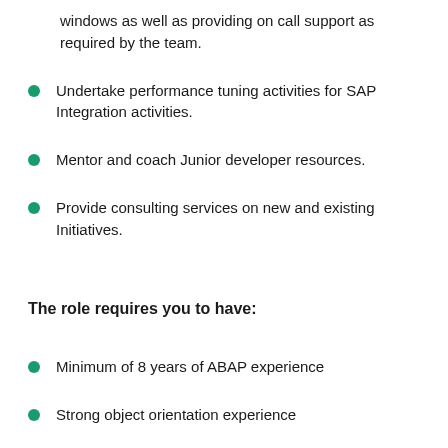windows as well as providing on call support as required by the team.
Undertake performance tuning activities for SAP Integration activities.
Mentor and coach Junior developer resources.
Provide consulting services on new and existing Initiatives.
The role requires you to have:
Minimum of 8 years of ABAP experience
Strong object orientation experience
SAP Fiori development experience is